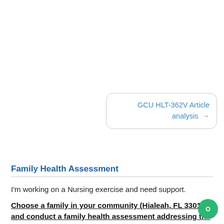[Figure (other): Navigation button linking to GCU HLT-362V Article analysis]
Family Health Assessment
I'm working on a Nursing exercise and need support.
Choose a family in your community (Hialeah, FL 33013) and conduct a family health assessment addressing the questions below.
1. Family composition.
Type of family, age, gender and racial/ethnic composition of the family.